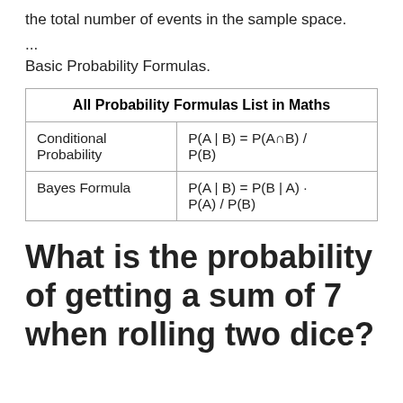the total number of events in the sample space.
...
Basic Probability Formulas.
| All Probability Formulas List in Maths |  |
| --- | --- |
| Conditional Probability | P(A | B) = P(A∩B) / P(B) |
| Bayes Formula | P(A | B) = P(B | A) · P(A) / P(B) |
What is the probability of getting a sum of 7 when rolling two dice?